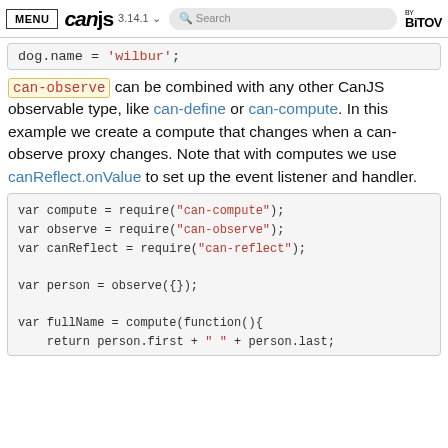MENU  CanJS  3.14.1  Search  BY BITOVI
dog.name = 'wilbur';
can-observe can be combined with any other CanJS observable type, like can-define or can-compute. In this example we create a compute that changes when a can-observe proxy changes. Note that with computes we use canReflect.onValue to set up the event listener and handler.
var compute = require("can-compute");
var observe = require("can-observe");
var canReflect = require("can-reflect");

var person = observe({});

var fullName = compute(function(){
    return person.first + " " + person.last;